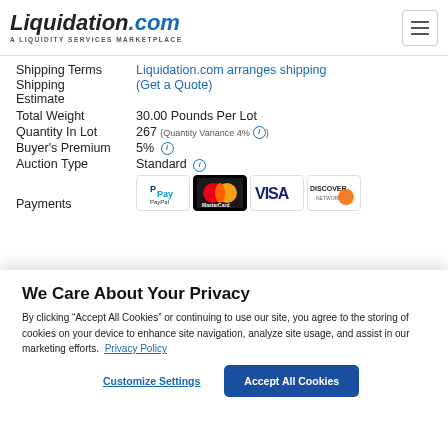Liquidation.com — A LIQUIDITY SERVICES MARKETPLACE
| Field | Value |
| --- | --- |
| Shipping Terms | Liquidation.com arranges shipping (Get a Quote) |
| Shipping Estimate |  |
| Total Weight | 30.00 Pounds Per Lot |
| Quantity In Lot | 267 (Quantity Variance 4%) |
| Buyer's Premium | 5% |
| Auction Type | Standard |
| Payments | PayPal, MasterCard, VISA, DISCOVER |
We Care About Your Privacy
By clicking “Accept All Cookies” or continuing to use our site, you agree to the storing of cookies on your device to enhance site navigation, analyze site usage, and assist in our marketing efforts. Privacy Policy
Customize Settings | Accept All Cookies